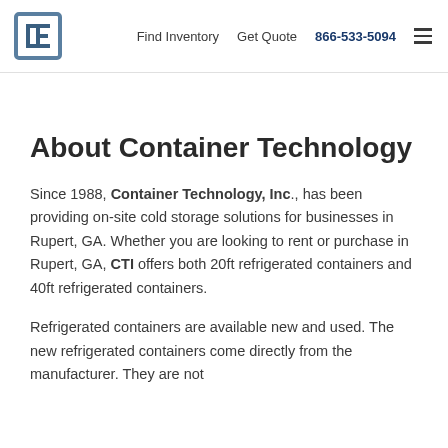Find Inventory  Get Quote  866-533-5094
About Container Technology
Since 1988, Container Technology, Inc., has been providing on-site cold storage solutions for businesses in Rupert, GA.  Whether you are looking to rent or purchase in Rupert, GA, CTI offers both 20ft refrigerated containers and 40ft refrigerated containers.
Refrigerated containers are available new and used.  The new refrigerated containers come directly from the manufacturer.  They are not